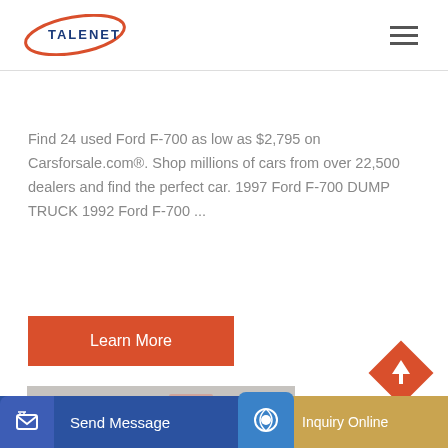[Figure (logo): Talenet logo with red swoosh and blue text]
[Figure (other): Hamburger menu icon (three horizontal lines)]
Find 24 used Ford F-700 as low as $2,795 on Carsforsale.com®. Shop millions of cars from over 22,500 dealers and find the perfect car. 1997 Ford F-700 DUMP TRUCK 1992 Ford F-700 ...
[Figure (other): Learn More button in red/orange color]
[Figure (photo): Photo of truck dealership lot showing multiple red trucks]
[Figure (other): Back to top arrow in red diamond shape]
[Figure (other): Send Message button bar in blue]
[Figure (other): Inquiry Online button bar in tan/gold]